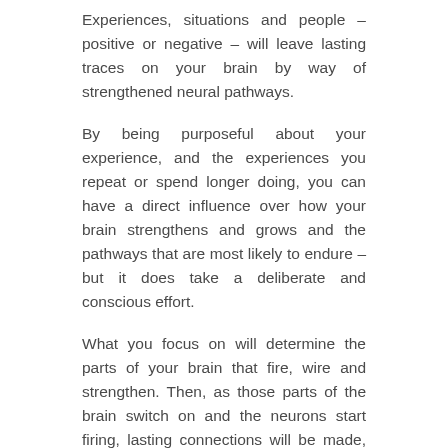Experiences, situations and people – positive or negative – will leave lasting traces on your brain by way of strengthened neural pathways.
By being purposeful about your experience, and the experiences you repeat or spend longer doing, you can have a direct influence over how your brain strengthens and grows and the pathways that are most likely to endure – but it does take a deliberate and conscious effort.
What you focus on will determine the parts of your brain that fire, wire and strengthen. Then, as those parts of the brain switch on and the neurons start firing, lasting connections will be made, strengthening memories and influencing what the brain will attend to in the future (positive or negative).
If you let your mind settle on self-criticism, self-loathing,